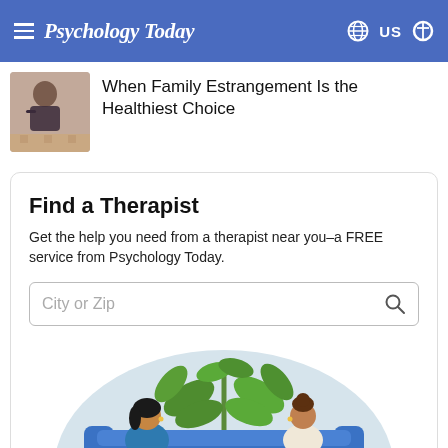Psychology Today
When Family Estrangement Is the Healthiest Choice
Find a Therapist
Get the help you need from a therapist near you–a FREE service from Psychology Today.
City or Zip
[Figure (illustration): Illustration of two women sitting across from each other in a therapy session with a plant in the background]